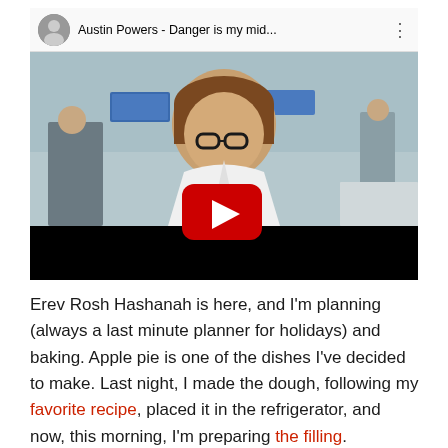[Figure (screenshot): YouTube video embed showing Austin Powers - Danger is my mid... with a movie still of a man in a white robe with glasses and a red YouTube play button overlay]
Erev Rosh Hashanah is here, and I'm planning (always a last minute planner for holidays) and baking. Apple pie is one of the dishes I've decided to make. Last night, I made the dough, following my favorite recipe, placed it in the refrigerator, and now, this morning, I'm preparing the filling.